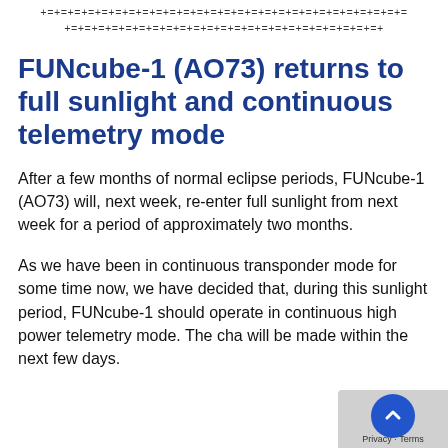+=+=+=+=+=+=+=+=+=+=+=+=+=+=+=+=+=+=+=+=+=+=+=+=+=+=+=
+=+=+=+=+=+=+=+=+=+=+=+=+=+=+=+=+=+=+=+=+=+=+=+
FUNcube-1 (AO73) returns to full sunlight and continuous telemetry mode
After a few months of normal eclipse periods, FUNcube-1 (AO73) will, next week, re-enter full sunlight from next week for a period of approximately two months.
As we have been in continuous transponder mode for some time now, we have decided that, during this sunlight period, FUNcube-1 should operate in continuous high power telemetry mode. The cha will be made within the next few days.